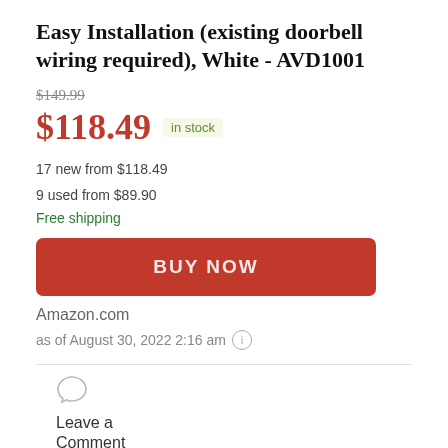Easy Installation (existing doorbell wiring required), White - AVD1001
$149.99
$118.49 in stock
17 new from $118.49
9 used from $89.90
Free shipping
BUY NOW
Amazon.com
as of August 30, 2022 2:16 am
Leave a Comment